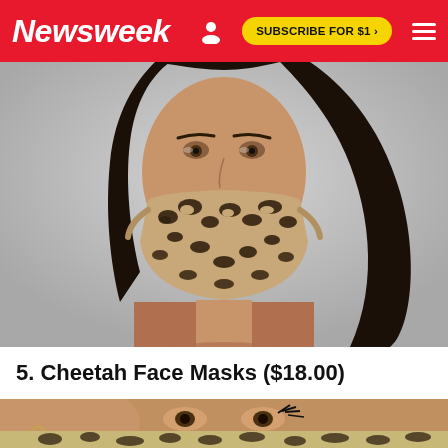Newsweek — SUBSCRIBE FOR $1 >
[Figure (photo): Woman wearing a cheetah/leopard print face mask, looking at camera, with long dark hair and a brown/rust colored top. Gray background.]
5. Cheetah Face Masks ($18.00)
[Figure (photo): Close-up of a woman holding a cheetah/leopard print face mask up near her eyes, partially obscuring her face. The mask has a beige/tan background with dark brown/navy spots.]